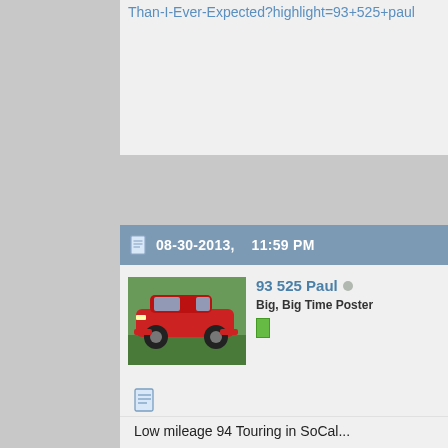Than-I-Ever-Expected?highlight=93+525+paul
08-30-2013,    11:59 PM
93 525 Paul
Big, Big Time Poster
Low mileage 94 Touring in SoCal...
1994 BMW 525i Wagon
Link to my M50 engine rebuild thread
http://www.bimmernut.com/forum/showthread.php/43339-M50-Eng-Than-I-Ever-Expected?highlight=93+525+paul